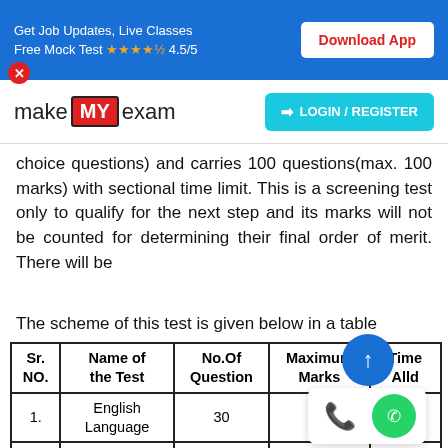Get Job Updates, Live Classes Free Mock Test ★★★★½ 4.5/5 | Download App
[Figure (logo): makeMyExam logo with red book icon and LOGIN/REGISTER button]
choice questions) and carries 100 questions(max. 100 marks) with sectional time limit. This is a screening test only to qualify for the next step and its marks will not be counted for determining their final order of merit. There will be
The scheme of this test is given below in a table
| Sr. NO. | Name of the Test | No.Of Question | Maximum Marks | Time Allowed |
| --- | --- | --- | --- | --- |
| 1. | English Language | 30 | 30 |  |
| 2. | Quantitative Aptitude | 35 | 35 | 20 Min |